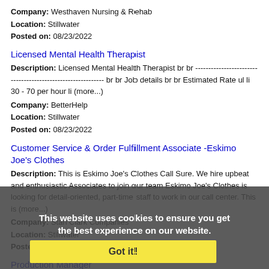Company: Westhaven Nursing & Rehab
Location: Stillwater
Posted on: 08/23/2022
Licensed Mental Health Therapist
Description: Licensed Mental Health Therapist br br ------------------------------------------------------------ br br Job details br br Estimated Rate ul li 30 - 70 per hour li (more...)
Company: BetterHelp
Location: Stillwater
Posted on: 08/23/2022
Customer Service & Order Fulfillment Associate -Eskimo Joe's Clothes
Description: This is Eskimo Joe's Clothes Call Sure. We hire upbeat and enthusiastic Associates to join our team Eskimo Joe's Clothes is looking for detail-oriented, part-time staff to work in our call center. This is (more...)
Company: Stan Clark Companies
Location: Stillwater
Posted on: 08/23/2022
Production Manager
Description: Job Summary:nThe Production Manager is